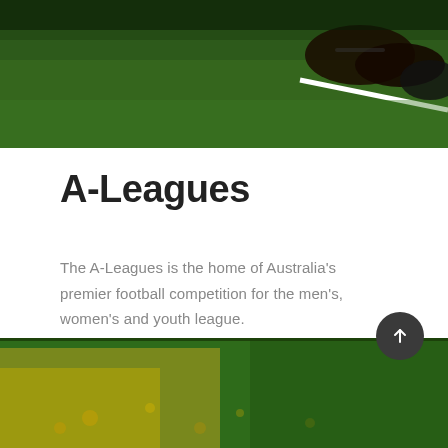[Figure (photo): Top portion shows a close-up of a soccer/football player's feet on a green grass field with a white line visible]
A-Leagues
The A-Leagues is the home of Australia's premier football competition for the men's, women's and youth league.
VISIT WEBSITE
[Figure (photo): Bottom banner showing a green and yellow/gold blurred sports field background with bokeh light effects]